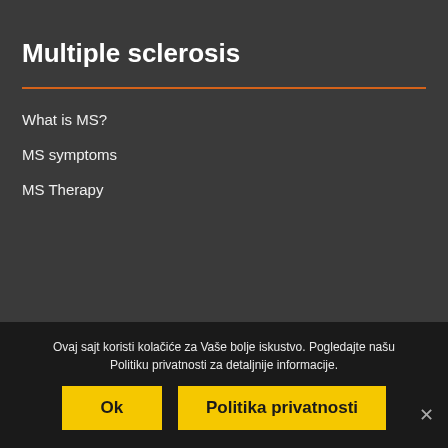Multiple sclerosis
What is MS?
MS symptoms
MS Therapy
Life with MS
Ovaj sajt koristi kolačiće za Vaše bolje iskustvo. Pogledajte našu Politiku privatnosti za detaljnije informacije.
Ok
Politika privatnosti